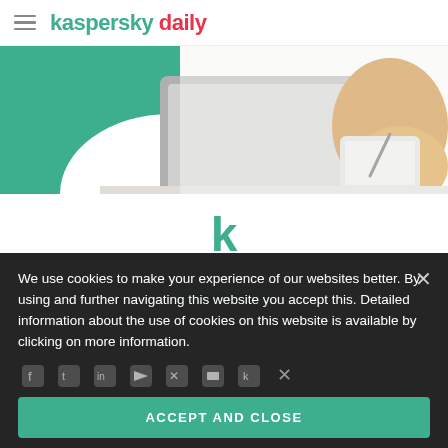kaspersky daily
[Figure (photo): Person in yellow/mustard sweater writing in notebook next to a laptop on a white surface, with teal/green background elements]
[Figure (logo): Kaspersky 'k' logo in teal/green color]
podcast
We use cookies to make your experience of our websites better. By using and further navigating this website you accept this. Detailed information about the use of cookies on this website is available by clicking on more information.
ACCEPT AND CLOSE